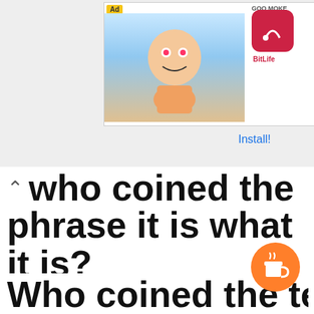[Figure (screenshot): Advertisement banner showing BitLife game ad with cartoon character]
who coined the phrase it is what it is?
According to the New York Times the phrase it is what it is appeared as early as an 1949 article by J.E. Lawrence in The Nebraska State Journal. Lawrence used the phrase when describing the difficulty faced during frontier-era life in Nebraska: “New land is harsh and vigorous and sturdy.
Who coined the term